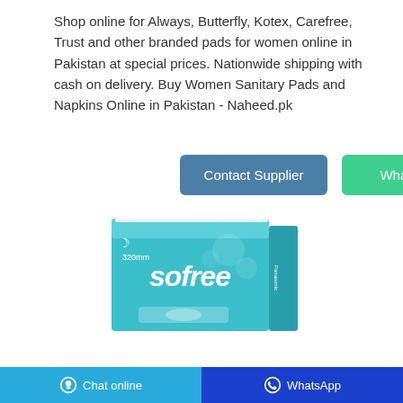Shop online for Always, Butterfly, Kotex, Carefree, Trust and other branded pads for women online in Pakistan at special prices. Nationwide shipping with cash on delivery. Buy Women Sanitary Pads and Napkins Online in Pakistan - Naheed.pk
[Figure (screenshot): Two buttons: 'Contact Supplier' (blue/steel) and 'WhatsApp' (green)]
[Figure (photo): Sofree brand sanitary pad product box, teal/turquoise colored packaging with 320mm label]
Chat online | WhatsApp